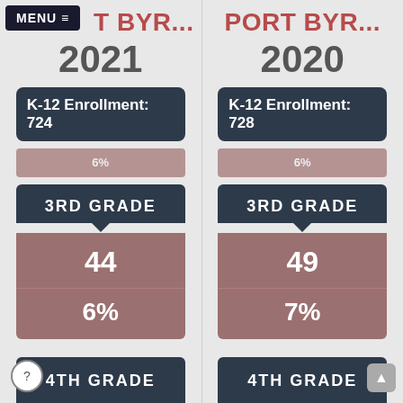MENU ≡
PORT BYR... 2021
K-12 Enrollment: 724
6%
3RD GRADE
44
6%
4TH GRADE
PORT BYR... 2020
K-12 Enrollment: 728
6%
3RD GRADE
49
7%
4TH GRADE